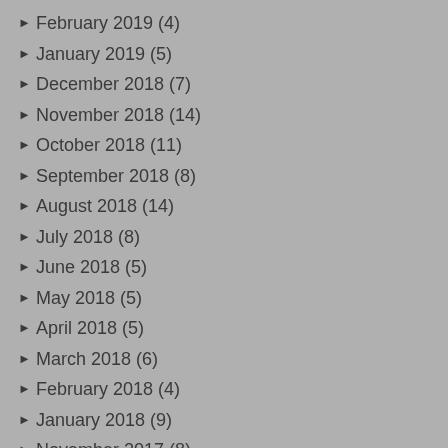February 2019 (4)
January 2019 (5)
December 2018 (7)
November 2018 (14)
October 2018 (11)
September 2018 (8)
August 2018 (14)
July 2018 (8)
June 2018 (5)
May 2018 (5)
April 2018 (5)
March 2018 (6)
February 2018 (4)
January 2018 (9)
November 2017 (8)
October 2017 (7)